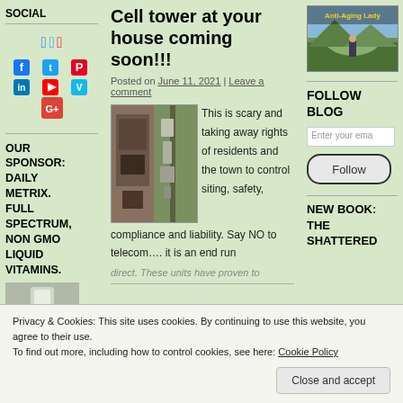SOCIAL
[Figure (other): Social media icons: Facebook, Twitter, Pinterest, LinkedIn, YouTube, Vimeo, Google+]
OUR SPONSOR: DAILY METRIX. FULL SPECTRUM, NON GMO LIQUID VITAMINS.
Cell tower at your house coming soon!!!
Posted on June 11, 2021 | Leave a comment
[Figure (photo): Two photos of cell tower equipment installed near a brick building and on a utility pole]
This is scary and taking away rights of residents and the town to control siting, safety, compliance and liability. Say NO to telecom…. it is an end run
[Figure (photo): Anti-Aging Lady blog header image showing a person outdoors]
FOLLOW BLOG
Enter your email address
Follow
NEW BOOK: THE SHATTERED
Privacy & Cookies: This site uses cookies. By continuing to use this website, you agree to their use.
To find out more, including how to control cookies, see here: Cookie Policy
Close and accept